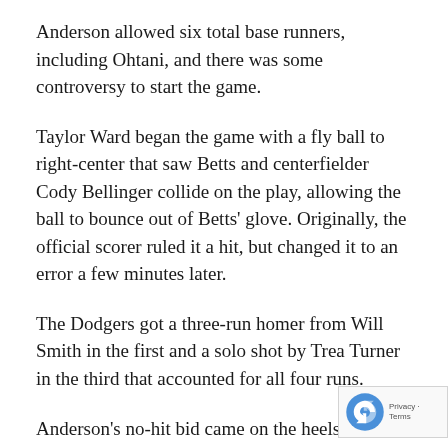Anderson allowed six total base runners, including Ohtani, and there was some controversy to start the game.
Taylor Ward began the game with a fly ball to right-center that saw Betts and centerfielder Cody Bellinger collide on the play, allowing the ball to bounce out of Betts' glove. Originally, the official scorer ruled it a hit, but changed it to an error a few minutes later.
The Dodgers got a three-run homer from Will Smith in the first and a solo shot by Trea Turner in the third that accounted for all four runs.
Anderson's no-hit bid came on the heels of St. Louis Cardinals starter Miles Mikolas coming within one out of a no-hitter against the Pittsburgh Pirates on Tuesday.